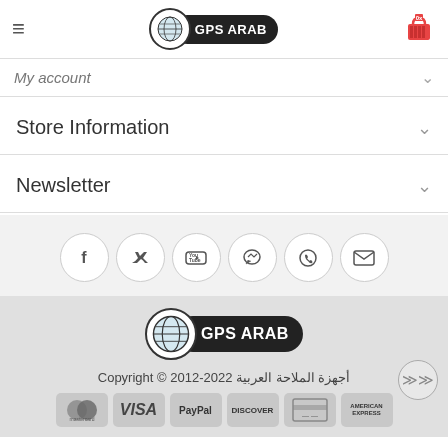GPS ARAB
My account
Store Information
Newsletter
[Figure (infographic): Row of 6 social media icon buttons: Facebook, Twitter, YouTube, Messenger, WhatsApp, Email]
[Figure (logo): GPS ARAB logo with globe icon and black pill-shaped background]
أجهزة الملاحة العربية Copyright © 2012-2022
[Figure (infographic): Payment method icons: Mastercard, VISA, PayPal, Discover, generic card, American Express]